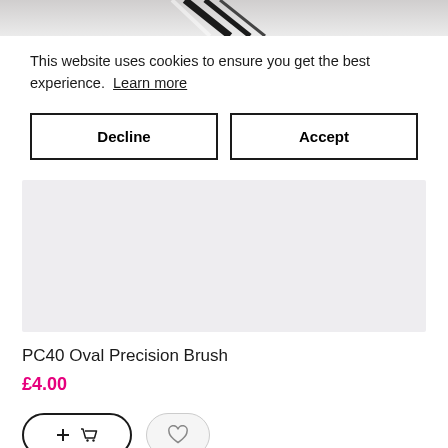[Figure (photo): Partial view of a product image (brush/cosmetic item) cropped at the top of the page]
This website uses cookies to ensure you get the best experience.  Learn more
Decline
Accept
[Figure (photo): Product image placeholder — light lavender/grey rectangle showing PC40 Oval Precision Brush]
PC40 Oval Precision Brush
£4.00
[Figure (other): Add to cart button with plus and basket icon, and a wishlist heart button]